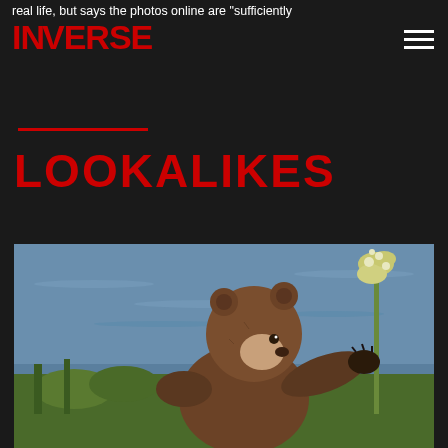real life, but says the photos online are "sufficiently
INVERSE
LOOKALIKES
[Figure (photo): A brown bear cub standing upright reaching toward a tall flowering plant with white blossoms, with a blue body of water visible in the background.]